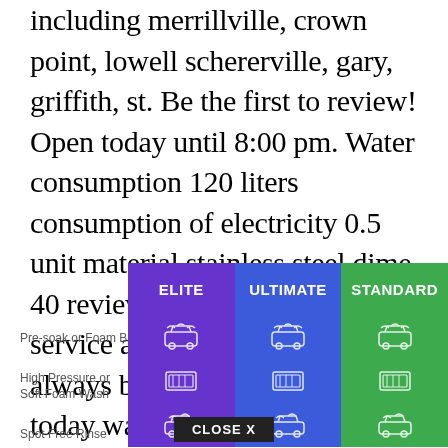including merrillville, crown point, lowell schererville, gary, griffith, st. Be the first to review! Open today until 8:00 pm. Water consumption 120 liters consumption of electricity 0.5 unit material stainless steel dime. 40 reviews of elite car wash the service at elite car wash has always been friendly to me, and today was no different.
[Figure (table-as-image): Car wash service comparison table with three columns (Elite - purple, Ultimate - blue, Standard - green) and rows for Pre-soak or Foam Bath, High Pressure or Soft Foam Wash, Spot Free Rinse, with icons in each cell. A 'CLOSE X' button overlays the bottom.]